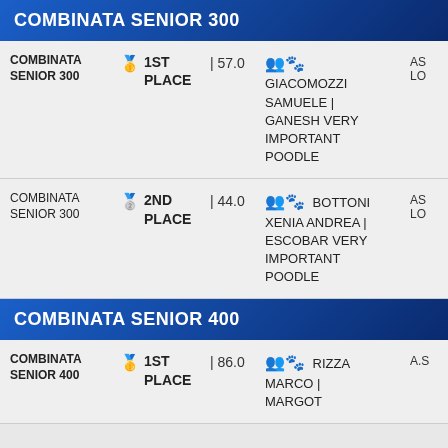COMBINATA SENIOR 300
| Event | Place | Score | Competitor | Org |
| --- | --- | --- | --- | --- |
| COMBINATA SENIOR 300 | 1ST PLACE | | 57.0 | GIACOMOZZI SAMUELE | GANESH VERY IMPORTANT POODLE | AS LO |
| COMBINATA SENIOR 300 | 2ND PLACE | | 44.0 | BOTTONI XENIA ANDREA | ESCOBAR VERY IMPORTANT POODLE | AS LO |
COMBINATA SENIOR 400
| Event | Place | Score | Competitor | Org |
| --- | --- | --- | --- | --- |
| COMBINATA SENIOR 400 | 1ST PLACE | | 86.0 | RIZZA MARCO | MARGOT | A.S |